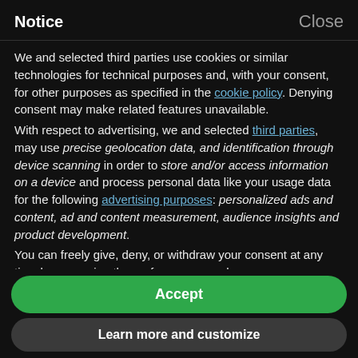Notice    Close
We and selected third parties use cookies or similar technologies for technical purposes and, with your consent, for other purposes as specified in the cookie policy. Denying consent may make related features unavailable.
With respect to advertising, we and selected third parties, may use precise geolocation data, and identification through device scanning in order to store and/or access information on a device and process personal data like your usage data for the following advertising purposes: personalized ads and content, ad and content measurement, audience insights and product development.
You can freely give, deny, or withdraw your consent at any time by accessing the preferences panel.
Use the "Accept" button or close this notice to consent to the
Accept
Learn more and customize